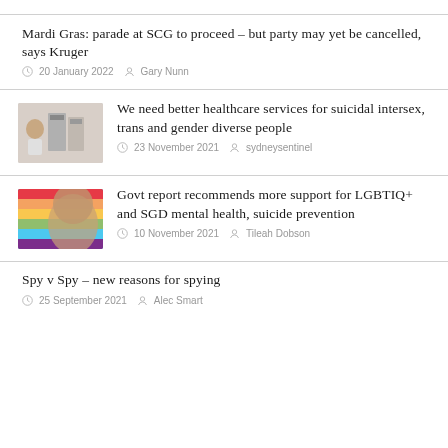Mardi Gras: parade at SCG to proceed – but party may yet be cancelled, says Kruger
20 January 2022   Gary Nunn
[Figure (photo): Thumbnail image related to healthcare article – child in front of books/signs]
We need better healthcare services for suicidal intersex, trans and gender diverse people
23 November 2021   sydneysentinel
[Figure (photo): Thumbnail image – hands with rainbow-colored accessories/socks]
Govt report recommends more support for LGBTIQ+ and SGD mental health, suicide prevention
10 November 2021   Tileah Dobson
Spy v Spy – new reasons for spying
25 September 2021   Alec Smart